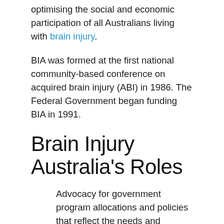optimising the social and economic participation of all Australians living with brain injury.
BIA was formed at the first national community-based conference on acquired brain injury (ABI) in 1986. The Federal Government began funding BIA in 1991.
Brain Injury Australia's Roles
Advocacy for government program allocations and policies that reflect the needs and priorities of people with an ABI and their families;
Provision of effective and timely input into policy, legislation and program development through active contact with Federal Government ministers, parliamentary representatives, Federal Government departments and agencies, and national disability